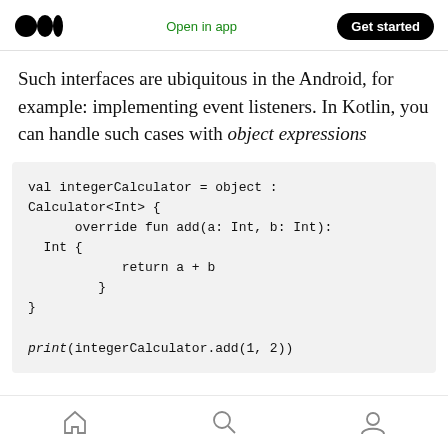Open in app | Get started
Such interfaces are ubiquitous in the Android, for example: implementing event listeners. In Kotlin, you can handle such cases with object expressions
val integerCalculator = object : Calculator<Int> {
    override fun add(a: Int, b: Int): Int {
        return a + b
    }
}

print(integerCalculator.add(1, 2))
home | search | profile